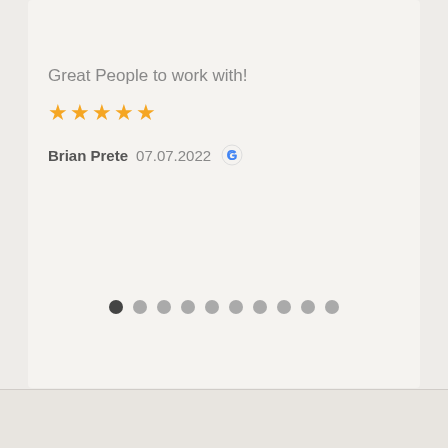[Figure (other): Star rating display showing approximately 4.65 stars with orange stars and score 4.65]
Great People to work with!
[Figure (other): 5 orange stars rating for the review]
Brian Prete  07.07.2022  [Google icon]
[Figure (other): Carousel navigation dots, 10 dots total, first dot is dark/active]